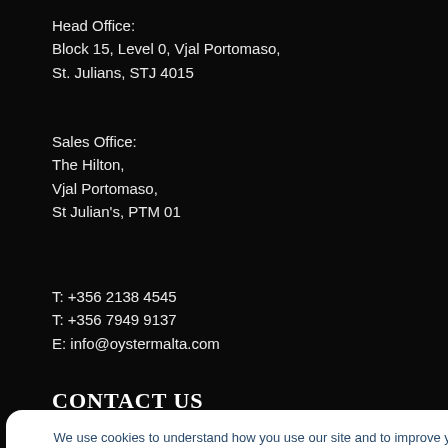Head Office:
Block 15, Level 0, Vjal Portomaso,
St. Julians, STJ 4015
Sales Office:
The Hilton,
Vjal Portomaso,
St Julian's, PTM 01
T: +356 2138 4545
T: +356 7949 9137
E: info@oystermalta.com
CONTACT US
We use cookies to understand how you use our site and to improve your experience.
Email Address